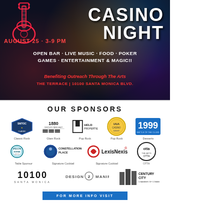[Figure (illustration): Casino Night event flyer with dark bokeh background, neon guitar graphic, large white text CASINO NIGHT, red text date AUGUST 25 · 3-9 PM, white text OPEN BAR · LIVE MUSIC · FOOD · POKER GAMES · ENTERTAINMENT & MAGIC!!, red italic text Benefiting Outreach Through The Arts, red text THE TERRACE | 10100 SANTA MONICA BLVD.]
OUR SPONSORS
[Figure (logo): Classic Rock sponsor logo - shield/crest shape]
Classic Rock
[Figure (logo): 1880 Century Park East - Glam Rock sponsor logo]
Glam Rock
[Figure (logo): Held Properties logo - Pop Rock sponsor]
Pop Rock
[Figure (logo): Circular badge logo - Desserts sponsor]
Pop Rock
[Figure (logo): 1999 logo - Desserts sponsor]
Desserts
[Figure (logo): Dragon Horse logo - Table Sponsor]
Table Sponsor
[Figure (logo): Constellation Place logo - Signature Cocktail]
Signature Cocktail
[Figure (logo): LexisNexis logo - Signature Cocktail]
Signature Cocktail
[Figure (logo): OTTA circular logo]
OTTA
[Figure (logo): 10100 Santa Monica logo]
[Figure (logo): Design 2 Manifest logo]
[Figure (logo): Century City Chamber of Commerce logo]
FOR MORE INFO VISIT